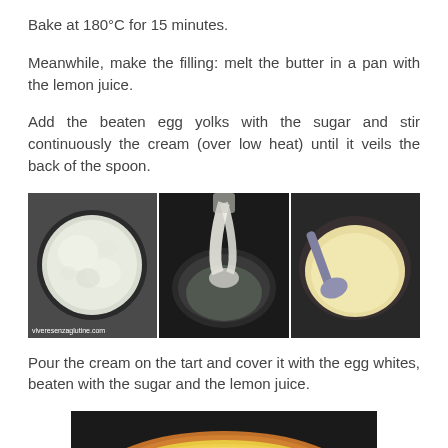Bake at 180°C for 15 minutes.
Meanwhile, make the filling: melt the butter in a pan with the lemon juice.
Add the beaten egg yolks with the sugar and stir continuously the cream (over low heat) until it veils the back of the spoon.
[Figure (photo): Three cooking process photos side by side: left shows melting butter in a pan (top-down view, white foamy mixture), center shows pouring cream into a dark pan, right shows finished cream with a spoon in a dark bowl. Watermark: viveresenzaglutine.com]
Pour the cream on the tart and cover it with the egg whites, beaten with the sugar and the lemon juice.
[Figure (photo): A tart shell filled with lemon cream, viewed from above, with a brown/orange crust edge and yellow filling, sitting on a dark surface.]